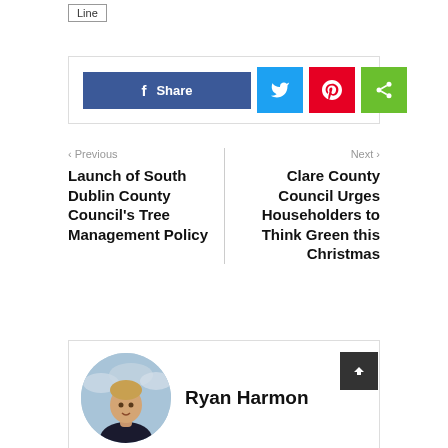Line
[Figure (infographic): Social share button bar with Facebook Share button (blue), Twitter bird icon (light blue), Pinterest logo (red), and share icon (green)]
< Previous
Launch of South Dublin County Council's Tree Management Policy
Next >
Clare County Council Urges Householders to Think Green this Christmas
Ryan Harmon
[Figure (photo): Circular profile photo of Ryan Harmon, a young man outdoors with a cloudy sky background]